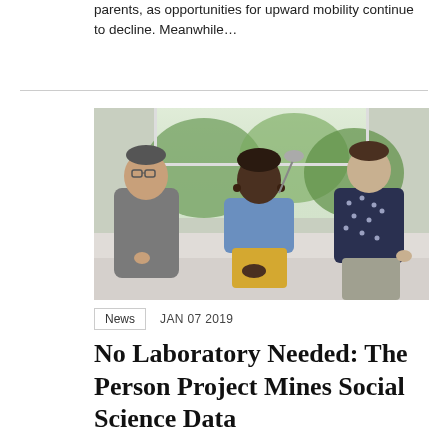parents, as opportunities for upward mobility continue to decline. Meanwhile...
[Figure (photo): Three people standing and sitting in an office or lab space. A man with glasses on the left wearing a grey t-shirt, a woman in the center wearing a blue top and yellow pants, and a person on the right wearing a dark patterned short-sleeve shirt.]
News   JAN 07 2019
No Laboratory Needed: The Person Project Mines Social Science Data